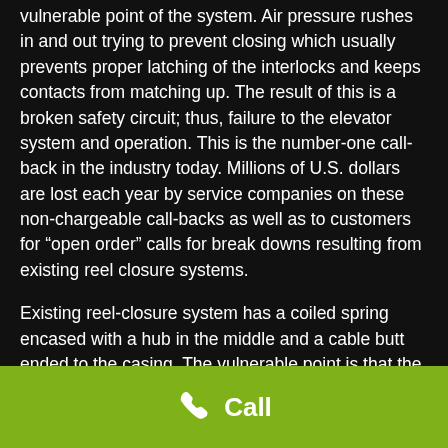vulnerable point of the system. Air pressure rushes in and out trying to prevent closing which usually prevents proper latching of the interlocks and keeps contacts from matching up. The result of this is a broken safety circuit; thus, failure to the elevator system and operation. This is the number-one call-back in the industry today. Millions of U.S. dollars are lost each year by service companies on these non-chargeable call-backs as well as to customers for “open order” calls for break downs resulting from existing reel closure systems.
Existing reel-closure system has a coiled spring encased with a hub in the middle and a cable butt ended to the casing. The vulnerable point is that the torque tension ratio is in direct relation to each other. When the door is open, the spring is wound up to its tightest point, and the tension is at its highest, when the door closes the spring torque decreases as well as the tension on the cable. Obviously at the closing is where more tension is required. In addition, over a period of time, this spring wears down and a mechanic is sent to “wind it up again.” This results in a loss of time and money for elevator companies and ultimately prompted
Call